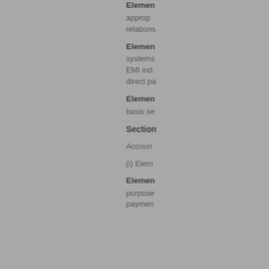Elemen
approp
relations
Elemen
systems
EMI ind
direct pa
Elemen
basis se
Section
Accoun
(i) Elem
Elemen
purpose
paymen